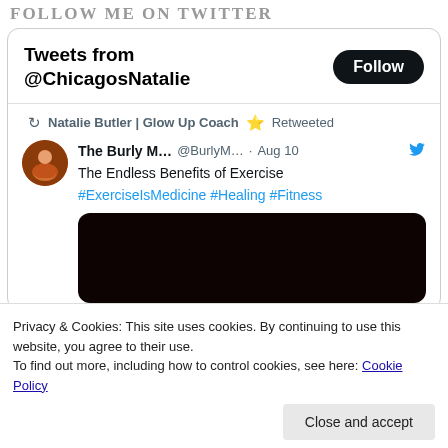FOLLOW ME ON TWITTER
[Figure (screenshot): Twitter widget showing Tweets from @ChicagosNatalie with a Follow button, a retweet by Natalie Butler | Glow Up Coach, original tweet from The Burly M... @BurlyM... Aug 10 about The Endless Benefits of Exercise with hashtags #ExerciseIsMedicine #Healing #Fitness, and a dark image placeholder.]
Privacy & Cookies: This site uses cookies. By continuing to use this website, you agree to their use.
To find out more, including how to control cookies, see here: Cookie Policy
Close and accept